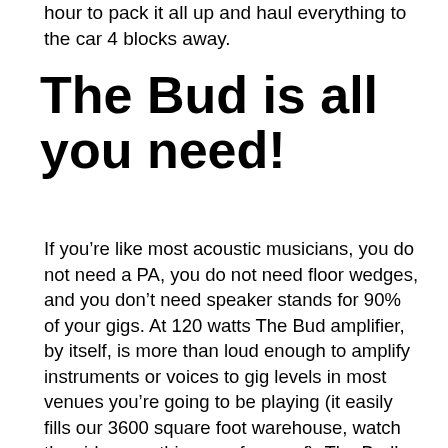hour to pack it all up and haul everything to the car 4 blocks away.
The Bud is all you need!
If you’re like most acoustic musicians, you do not need a PA, you do not need floor wedges, and you don’t need speaker stands for 90% of your gigs. At 120 watts The Bud amplifier, by itself, is more than loud enough to amplify instruments or voices to gig levels in most venues you’re going to be playing (it easily fills our 3600 square foot warehouse, watch the videos on this page for proof). The Bud’s analog design also projects the true quality of tone of your instrument without compromise. Not only are you able to do the gig with less equipment, you’re going to sound better doing it.